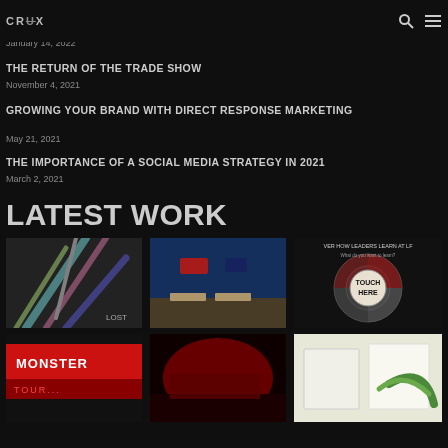CRUX [logo] | search icon | menu icon
5 BIG BENEFITS OF A CONTENT-FIRST DESIGN
January 14, 2022
THE RETURN OF THE TRADE SHOW
November 4, 2021
GROWING YOUR BRAND WITH DIRECT RESPONSE MARKETING
May 21, 2021
THE IMPORTANCE OF A SOCIAL MEDIA STRATEGY IN 2021
March 2, 2021
LATEST WORK
[Figure (photo): Close-up photo of colorful cables or wires]
[Figure (photo): Interior of a room with blue walls and white tables/chairs]
[Figure (photo): Interactive touch display graphic: VER HOW LEADERS LEARN AT LF, What do you want to learn, TOUCH HERE]
[Figure (photo): Red signage or banner - partially visible]
[Figure (photo): Red-lit interior room]
[Figure (photo): Printed brochure or booklet with green element]